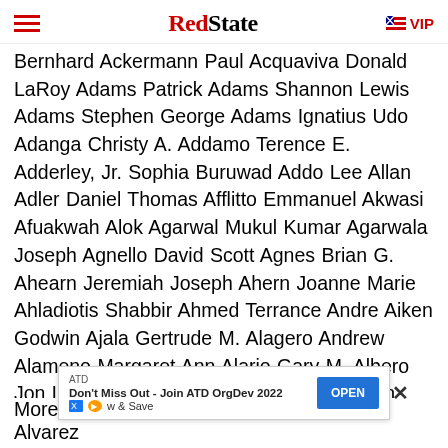RedState VIP
Bernhard Ackermann Paul Acquaviva Donald LaRoy Adams Patrick Adams Shannon Lewis Adams Stephen George Adams Ignatius Udo Adanga Christy A. Addamo Terence E. Adderley, Jr. Sophia Buruwad Addo Lee Allan Adler Daniel Thomas Afflitto Emmanuel Akwasi Afuakwah Alok Agarwal Mukul Kumar Agarwala Joseph Agnello David Scott Agnes Brian G. Ahearn Jeremiah Joseph Ahern Joanne Marie Ahladiotis Shabbir Ahmed Terrance Andre Aiken Godwin Ajala Gertrude M. Alagero Andrew Alameno Margaret Ann Alario Gary M. Albero Jon Leslie Albert Peter Alderman Jacquelyn Delaine Aldridge David D. Alger Sarah Ali-Escarcega Ernest Alikakos Edward L. Allegretto Eric Allen Joseph Ryan Allen Richard Renata Allen Richard Leonard Allen
[Figure (screenshot): ATD advertisement banner: Don't Miss Out - Join ATD OrgDev 2022 Now & Save, with OPEN button]
Moreno Anthony Alvarado Antonio Javier Alvarez